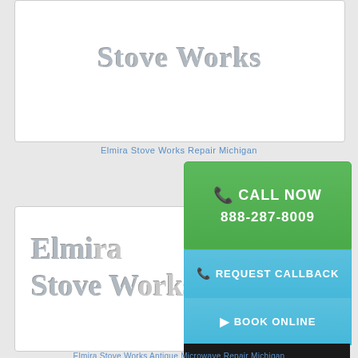[Figure (logo): Elmira Stove Works logo text in white card at top]
Elmira Stove Works Repair Michigan
[Figure (logo): Elmira Stove Works logo text in second white card]
CALL NOW 888-287-8009
REQUEST CALLBACK
BOOK ONLINE
TO ORDER PARTS 877-298-2785 Same Day Shipping
Elmira Stove Works Antique Microwave Repair Michigan
[Figure (logo): Emerson logo at bottom of page]